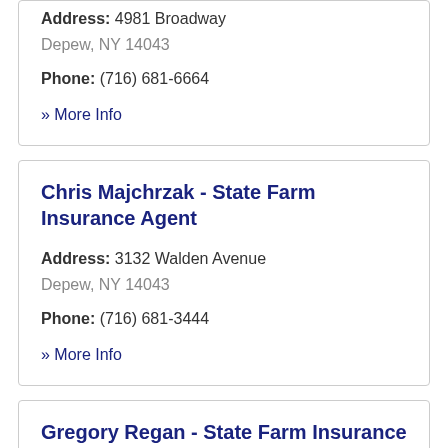Address: 4981 Broadway Depew, NY 14043
Phone: (716) 681-6664
» More Info
Chris Majchrzak - State Farm Insurance Agent
Address: 3132 Walden Avenue Depew, NY 14043
Phone: (716) 681-3444
» More Info
Gregory Regan - State Farm Insurance Agent